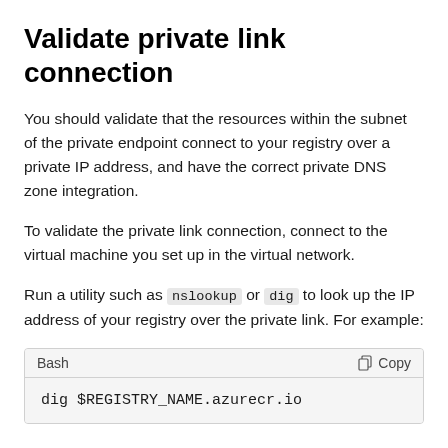Validate private link connection
You should validate that the resources within the subnet of the private endpoint connect to your registry over a private IP address, and have the correct private DNS zone integration.
To validate the private link connection, connect to the virtual machine you set up in the virtual network.
Run a utility such as nslookup or dig to look up the IP address of your registry over the private link. For example:
[Figure (screenshot): Bash code block showing: dig $REGISTRY_NAME.azurecr.io with a Copy button in the header]
Example output shows the registry's IP address in the